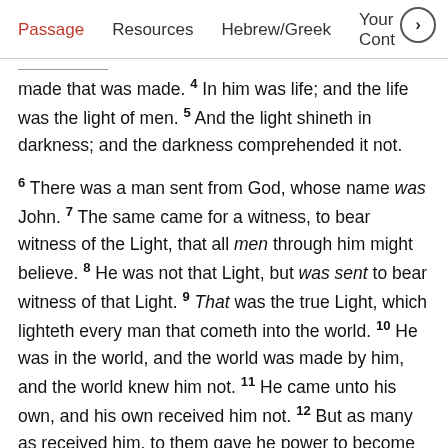Passage   Resources   Hebrew/Greek   Your Cont >
made that was made. 4 In him was life; and the life was the light of men. 5 And the light shineth in darkness; and the darkness comprehended it not.
6 There was a man sent from God, whose name was John. 7 The same came for a witness, to bear witness of the Light, that all men through him might believe. 8 He was not that Light, but was sent to bear witness of that Light. 9 That was the true Light, which lighteth every man that cometh into the world. 10 He was in the world, and the world was made by him, and the world knew him not. 11 He came unto his own, and his own received him not. 12 But as many as received him, to them gave he power to become the sons of God, even to them that believe on his name: